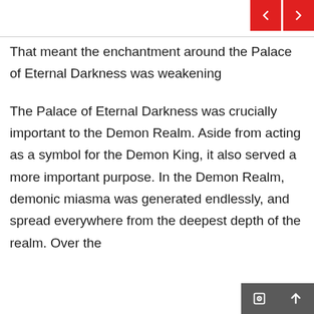That meant the enchantment around the Palace of Eternal Darkness was weakening
The Palace of Eternal Darkness was crucially important to the Demon Realm. Aside from acting as a symbol for the Demon King, it also served a more important purpose. In the Demon Realm, demonic miasma was generated endlessly, and spread everywhere from the deepest depth of the realm. Over the